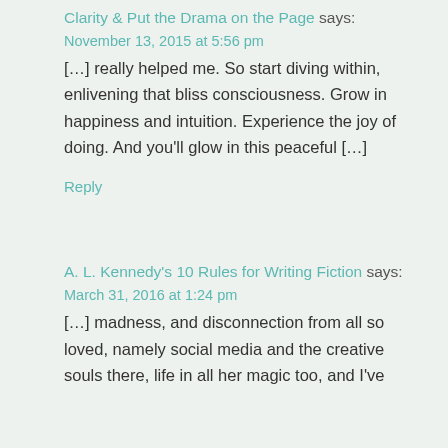Clarity & Put the Drama on the Page says:
November 13, 2015 at 5:56 pm
[…] really helped me. So start diving within, enlivening that bliss consciousness. Grow in happiness and intuition. Experience the joy of doing. And you'll glow in this peaceful […]
Reply
A. L. Kennedy's 10 Rules for Writing Fiction says:
March 31, 2016 at 1:24 pm
[…] madness, and disconnection from all so loved, namely social media and the creative souls there, life in all her magic too, and I've